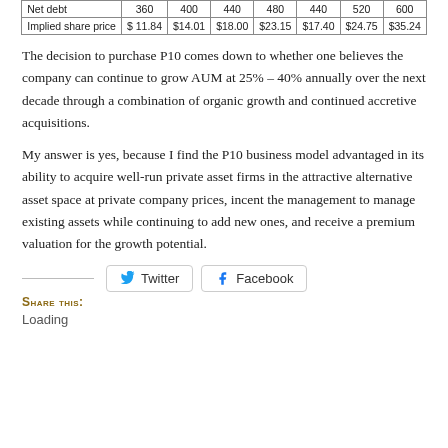|  |  |  |  |  |  |  |  |
| --- | --- | --- | --- | --- | --- | --- | --- |
| Net debt | 360 | 400 | 440 | 480 | 440 | 520 | 600 |
| Implied share price | $ 11.84 | $14.01 | $18.00 | $23.15 | $17.40 | $24.75 | $35.24 |
The decision to purchase P10 comes down to whether one believes the company can continue to grow AUM at 25% – 40% annually over the next decade through a combination of organic growth and continued accretive acquisitions.
My answer is yes, because I find the P10 business model advantaged in its ability to acquire well-run private asset firms in the attractive alternative asset space at private company prices, incent the management to manage existing assets while continuing to add new ones, and receive a premium valuation for the growth potential.
Share this:
Loading